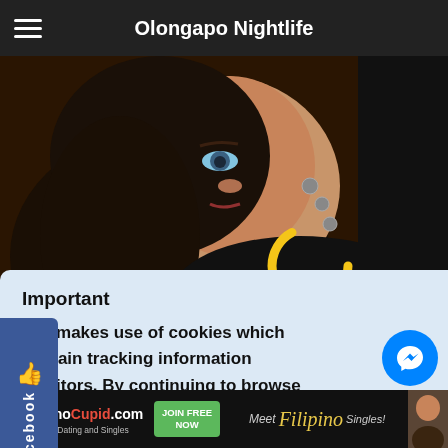Olongapo Nightlife
[Figure (photo): A woman lying down, wearing jewelry and a dark top, photographed from above at an angle. A loading spinner (circular ring in orange/yellow) is overlaid on the image.]
Important
site makes use of cookies which contain tracking information t visitors. By continuing to browse site you agree to our use of ies.
[Figure (infographic): FilipinoCupid.com advertisement banner at the bottom: heart logo, brand name, 'Filipino Dating and Singles', green JOIN FREE NOW button, 'Meet Filipino Singles!' text with woman's photo]
[Figure (infographic): Blue Messenger button (chat icon) in the bottom-right corner]